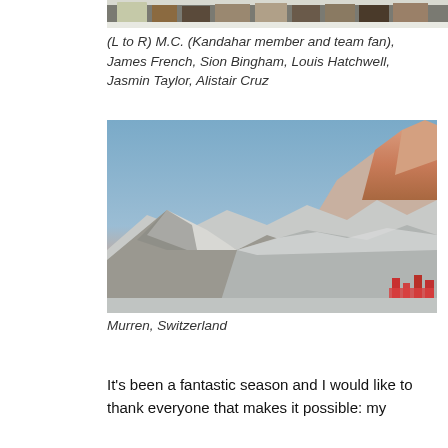[Figure (photo): Partial view of a group of people standing in ski/snow gear, cropped to show only their legs and lower bodies.]
(L to R) M.C. (Kandahar member and team fan), James French, Sion Bingham, Louis Hatchwell, Jasmin Taylor, Alistair Cruz
[Figure (photo): Panoramic mountain landscape photo of Murren, Switzerland showing snow-capped peaks at sunset/dusk with a pink and blue sky. Red banners/flags visible in lower right corner.]
Murren, Switzerland
It's been a fantastic season and I would like to thank everyone that makes it possible: my